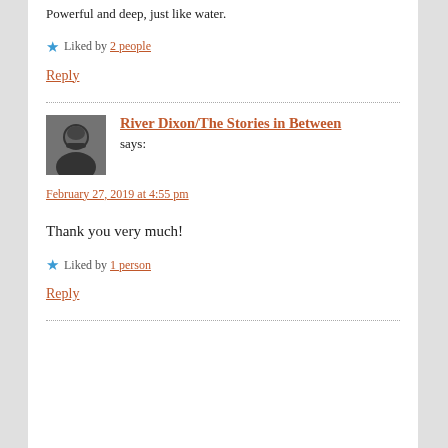Powerful and deep, just like water.
Liked by 2 people
Reply
River Dixon/The Stories in Between says:
February 27, 2019 at 4:55 pm
Thank you very much!
Liked by 1 person
Reply